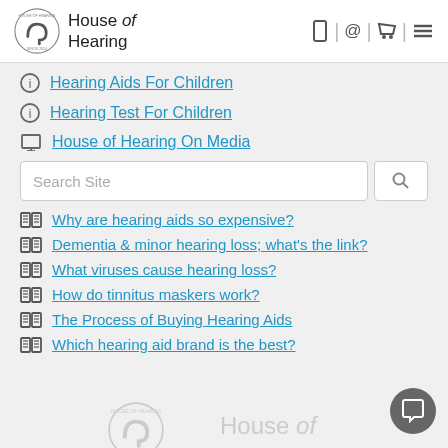House of Hearing
Hearing Aids For Children
Hearing Test For Children
House of Hearing On Media
Why are hearing aids so expensive?
Dementia & minor hearing loss; what's the link?
What viruses cause hearing loss?
How do tinnitus maskers work?
The Process of Buying Hearing Aids
Which hearing aid brand is the best?